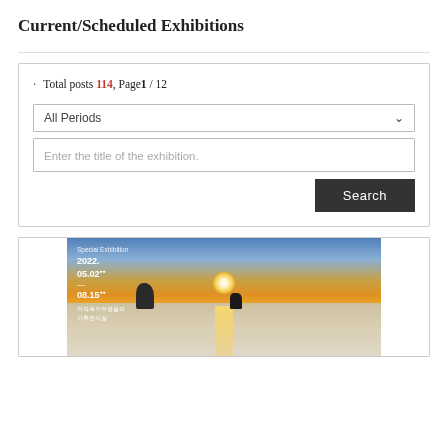Current/Scheduled Exhibitions
Total posts 114, Page1 / 12
[Figure (screenshot): Search interface with dropdown 'All Periods', text input 'Enter the title of the exhibition.', and a dark Search button]
[Figure (photo): Exhibition card showing a sunset landscape photo with overlay text: Special Exhibition, 2022. 05.02 ~ 08.15, Korean text subtitle]